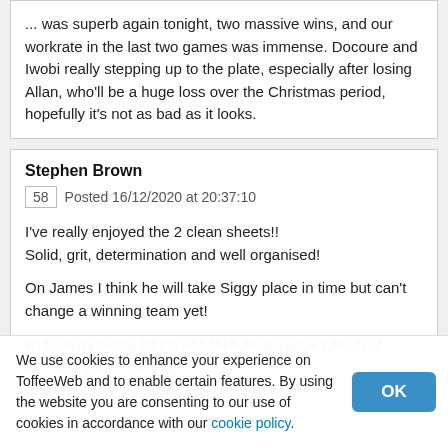...thought Holme was superb again tonight, two massive wins, and our workrate in the last two games was immense. Docoure and Iwobi really stepping up to the plate, especially after losing Allan, who'll be a huge loss over the Christmas period, hopefully it's not as bad as it looks.
Stephen Brown
58  Posted 16/12/2020 at 20:37:10
I've really enjoyed the 2 clean sheets!!
Solid, grit, determination and well organised!

On James I think he will take Siggy place in time but can't change a winning team yet!

I'd be tempted to let Davies take Allan place v Arsenal Al... a... and... for... a... Cup...

Team spirit seems great at the moment
We use cookies to enhance your experience on ToffeeWeb and to enable certain features. By using the website you are consenting to our use of cookies in accordance with our cookie policy.